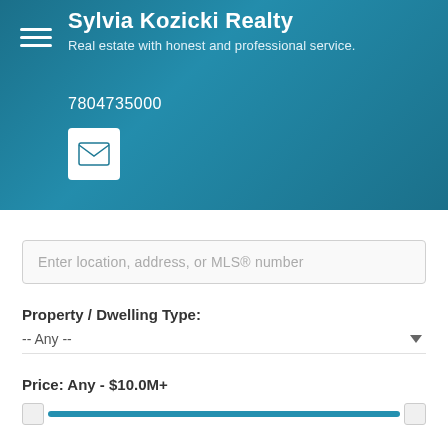[Figure (screenshot): Website header with teal/blue background showing Sylvia Kozicki Realty branding, hamburger menu icon, tagline, phone number, and email button]
Sylvia Kozicki Realty
Real estate with honest and professional service.
7804735000
Enter location, address, or MLS® number
Property / Dwelling Type:
-- Any --
Price: Any - $10.0M+
Bedrooms: 0 - 10+